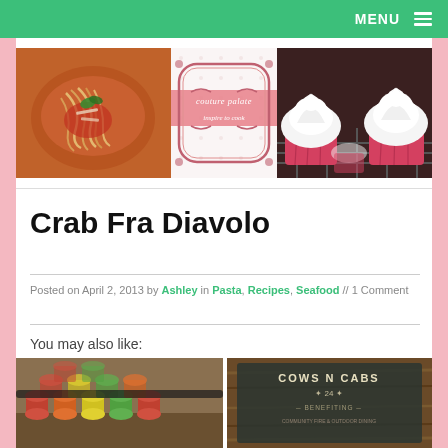MENU
[Figure (photo): Website header with three images: pasta dish on orange plate (left), Couture Palate logo 'inspire to cook' (center), red velvet cupcakes (right)]
Crab Fra Diavolo
Posted on April 2, 2013 by Ashley in Pasta, Recipes, Seafood // 1 Comment
You may also like:
[Figure (photo): Two thumbnail photos: colorful macarons on a table (left), Cows N Cabs event sign on wood background (right)]